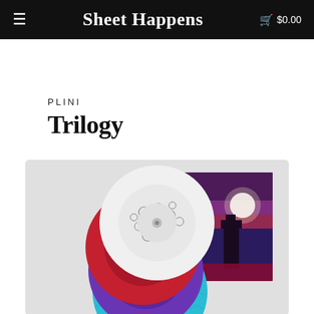Sheet Happens  $0.00
PLINI
Trilogy
[Figure (photo): Product photo showing three colored vinyl records (white/black patterned, red marbled, purple marbled, and teal/blue marbled) stacked and fanned out, alongside a square album cover featuring a surreal purple/red sky with a tower silhouette]